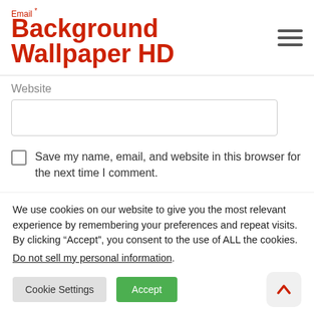Background Wallpaper HD
Website
Save my name, email, and website in this browser for the next time I comment.
Post Comment
We use cookies on our website to give you the most relevant experience by remembering your preferences and repeat visits. By clicking “Accept”, you consent to the use of ALL the cookies.
Do not sell my personal information.
Cookie Settings
Accept